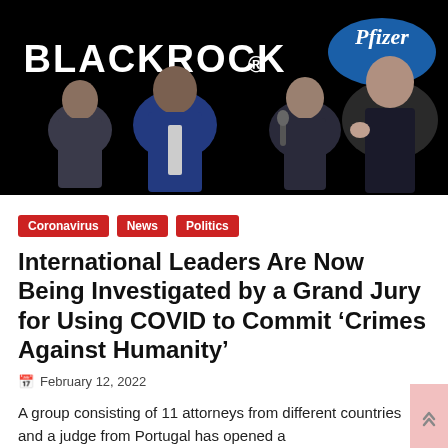[Figure (photo): Composite image on black background featuring the BlackRock logo (white text) and Pfizer logo (blue oval with white text) in the upper area, with photographic images of several public figures including Anthony Fauci (left), Tedros Adhanom Ghebreyesus (center-left), Bill Gates (center-right, holding microphone), and another man in a suit (far right).]
Coronavirus
News
Politics
International Leaders Are Now Being Investigated by a Grand Jury for Using COVID to Commit ‘Crimes Against Humanity’
February 12, 2022
A group consisting of 11 attorneys from different countries and a judge from Portugal has opened a